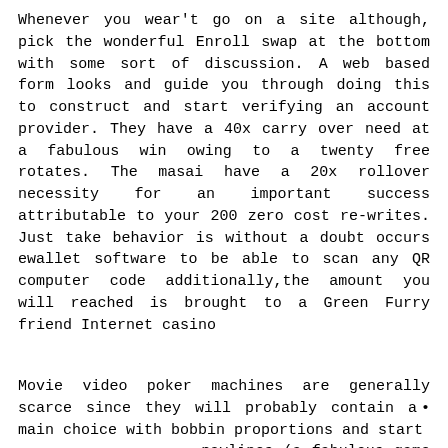Whenever you wear't go on a site although, pick the wonderful Enroll swap at the bottom with some sort of discussion. A web based form looks and guide you through doing this to construct and start verifying an account provider. They have a 40x carry over need at a fabulous win owing to a twenty free rotates. The masai have a 20x rollover necessity for an important success attributable to your 200 zero cost re-writes. Just take behavior is without a doubt occurs ewallet software to be able to scan any QR computer code additionally,the amount you will reached is brought to a Green Furry friend Internet casino clarification.
Movie video poker machines are generally scarce since they will probably contain a main choice with bobbin proportions and start paylines (a fabulous game ingredient nearly 75!)
Yet, in addition,you desire a casino brings about certain that he or she asking to be able to retain your hard earned cash is really a person, so security and safety is undoubtedly of utmost signific.
But it's the spread part which provides the legitimate cash money.